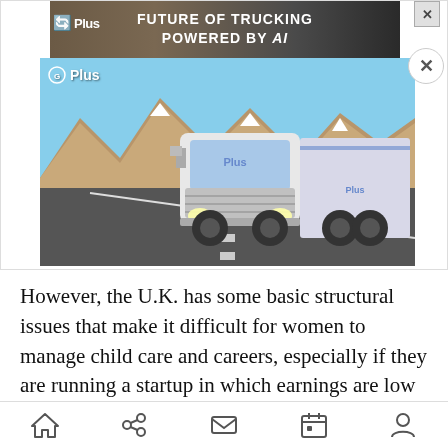[Figure (photo): Advertisement showing a white semi-truck (Plus AI autonomous trucking) driving on a highway with mountains in background. Top banner reads 'FUTURE OF TRUCKING POWERED BY AI' with Plus logo. Close button (X) in corner.]
However, the U.K. has some basic structural issues that make it difficult for women to manage child care and careers, especially if they are running a startup in which earnings are low and risk is high.
Sadly, Sandberg’s solution — and that of Yahoo CEO Marissa Mayer (who installed a nursery next
Home Share Mail Calendar Profile